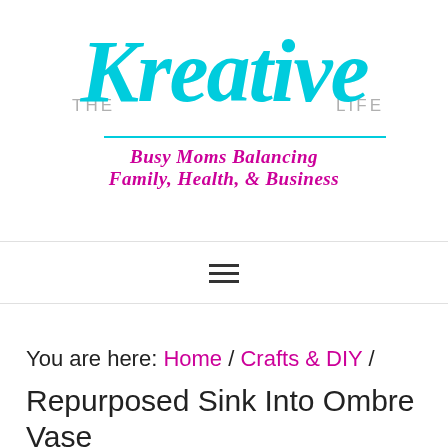[Figure (logo): The Kreative Life logo — 'THE' and 'LIFE' in gray, 'Kreative' in large cyan/turquoise cursive script, with a cyan underline and tagline 'Busy Moms Balancing Family, Health, & Business' in magenta italic serif font.]
≡ (hamburger menu icon)
You are here: Home / Crafts & DIY / Repurposed Sink Into Ombre Vase